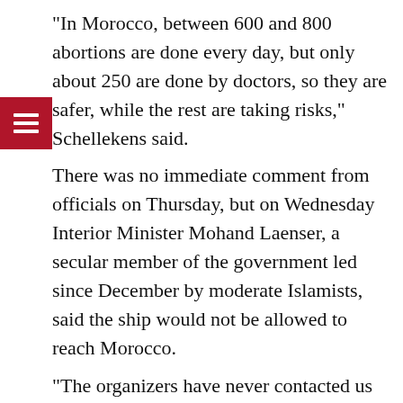"In Morocco, between 600 and 800 abortions are done every day, but only about 250 are done by doctors, so they are safer, while the rest are taking risks," Schellekens said.
There was no immediate comment from officials on Thursday, but on Wednesday Interior Minister Mohand Laenser, a secular member of the government led since December by moderate Islamists, said the ship would not be allowed to reach Morocco.
"The organizers have never contacted us to seek permission to visit Morocco," Laenser told Reuters. "Plus, we are not going to let them in." Each year hundreds of single mothers are forced to abandon or give up their babies for adoption